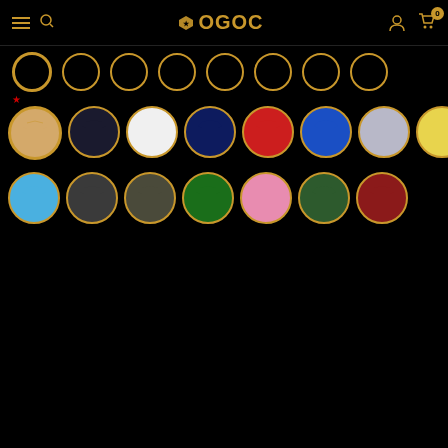[Figure (screenshot): E-commerce product page for OGDC brand t-shirts showing size selector circles, color swatch thumbnails, Add to Cart and Buy It Now buttons, wishlist, viewer count, and social share icons on black background]
ADD TO CART
BUY IT NOW
5 customers are viewing this product